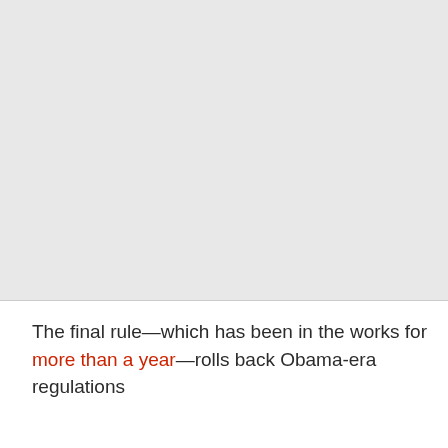[Figure (photo): Large image placeholder area with light gray background occupying the top portion of the page.]
The final rule—which has been in the works for more than a year—rolls back Obama-era regulations requiring employers to notify their…